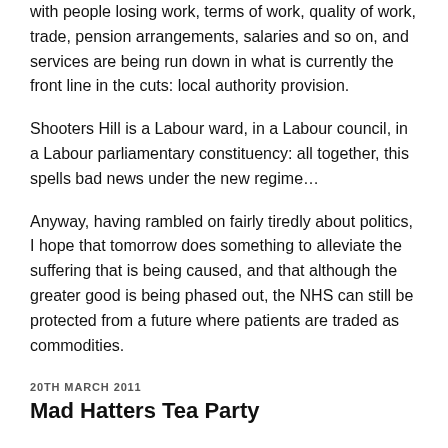with people losing work, terms of work, quality of work, trade, pension arrangements, salaries and so on, and services are being run down in what is currently the front line in the cuts: local authority provision.
Shooters Hill is a Labour ward, in a Labour council, in a Labour parliamentary constituency: all together, this spells bad news under the new regime…
Anyway, having rambled on fairly tiredly about politics, I hope that tomorrow does something to alleviate the suffering that is being caused, and that although the greater good is being phased out, the NHS can still be protected from a future where patients are traded as commodities.
20TH MARCH 2011
Mad Hatters Tea Party